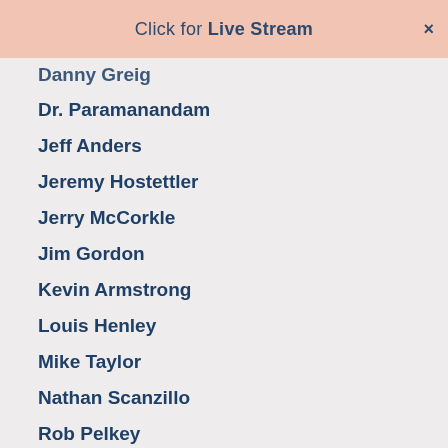Click for Live Stream
Danny Greig
Dr. Paramanandam
Jeff Anders
Jeremy Hostettler
Jerry McCorkle
Jim Gordon
Kevin Armstrong
Louis Henley
Mike Taylor
Nathan Scanzillo
Rob Pelkey
Sherman Lowe